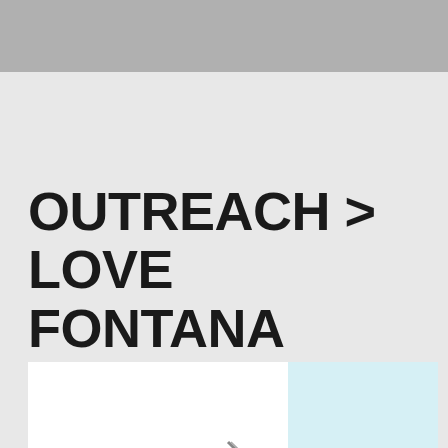OUTREACH > LOVE FONTANA
[Figure (photo): Partial view of a photo showing a hand holding a pen, with a white and light blue background, partially visible at the bottom of the page.]